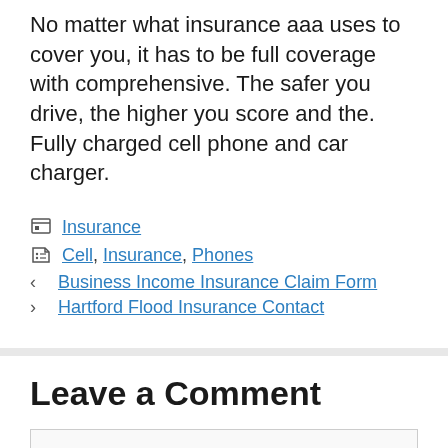No matter what insurance aaa uses to cover you, it has to be full coverage with comprehensive. The safer you drive, the higher you score and the. Fully charged cell phone and car charger.
Insurance
Cell, Insurance, Phones
Business Income Insurance Claim Form
Hartford Flood Insurance Contact
Leave a Comment